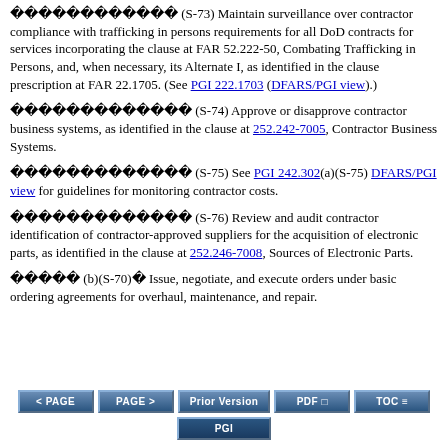������������ (S-73) Maintain surveillance over contractor compliance with trafficking in persons requirements for all DoD contracts for services incorporating the clause at FAR 52.222-50, Combating Trafficking in Persons, and, when necessary, its Alternate I, as identified in the clause prescription at FAR 22.1705. (See PGI 222.1703 (DFARS/PGI view).)
������������ (S-74) Approve or disapprove contractor business systems, as identified in the clause at 252.242-7005, Contractor Business Systems.
������������ (S-75) See PGI 242.302(a)(S-75) DFARS/PGI view for guidelines for monitoring contractor costs.
������������ (S-76) Review and audit contractor identification of contractor-approved suppliers for the acquisition of electronic parts, as identified in the clause at 252.246-7008, Sources of Electronic Parts.
����� (b)(S-70)� Issue, negotiate, and execute orders under basic ordering agreements for overhaul, maintenance, and repair.
[Figure (other): Navigation buttons: < PAGE, PAGE >, Prior Version, PDF, TOC, PGI]